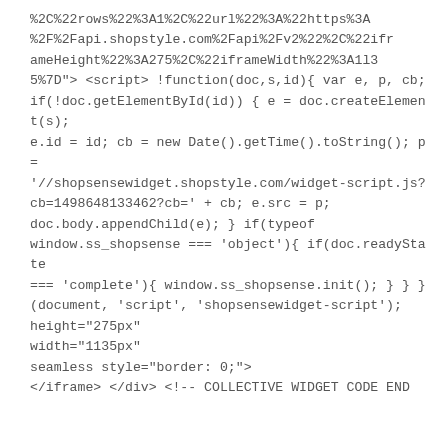%2C%22rows%22%3A1%2C%22url%22%3A%22https%3A%2F%2Fapi.shopstyle.com%2Fapi%2Fv2%22%2C%22iframeHeight%22%3A275%2C%22iframeWidth%22%3A1135%7D"> <script> !function(doc,s,id){ var e, p, cb; if(!doc.getElementById(id)) { e = doc.createElement(s); e.id = id; cb = new Date().getTime().toString(); p = '//shopsensewidget.shopstyle.com/widget-script.js?cb=1498648133462?cb=' + cb; e.src = p; doc.body.appendChild(e); } if(typeof window.ss_shopsense === 'object'){ if(doc.readyState === 'complete'){ window.ss_shopsense.init(); } } } (document, 'script', 'shopsensewidget-script'); height="275px" width="1135px" seamless style="border: 0;"> </iframe> </div> <!-- COLLECTIVE WIDGET CODE END